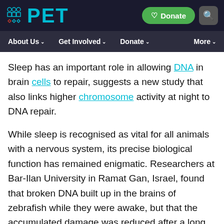PET — Donate | Search
About Us | Get Involved | Donate | More
Sleep has an important role in allowing DNA in brain cells to repair, suggests a new study that also links higher chromosome activity at night to DNA repair.
While sleep is recognised as vital for all animals with a nervous system, its precise biological function has remained enigmatic. Researchers at Bar-Ilan University in Ramat Gan, Israel, found that broken DNA built up in the brains of zebrafish while they were awake, but that the accumulated damage was reduced after a long period of sleep.